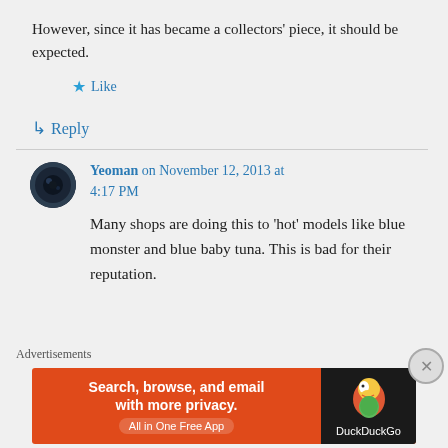However, since it has became a collectors' piece, it should be expected.
★ Like
↳ Reply
Yeoman on November 12, 2013 at 4:17 PM
Many shops are doing this to 'hot' models like blue monster and blue baby tuna. This is bad for their reputation.
Advertisements
[Figure (screenshot): DuckDuckGo advertisement banner: 'Search, browse, and email with more privacy. All in One Free App' with DuckDuckGo logo on dark background.]